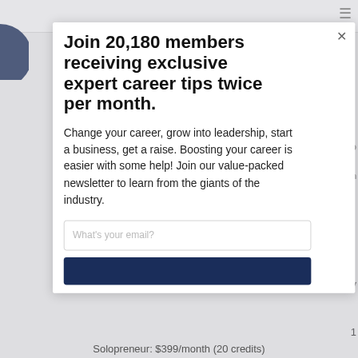Join 20,180 members receiving exclusive expert career tips twice per month.
Change your career, grow into leadership, start a business, get a raise. Boosting your career is easier with some help! Join our value-packed newsletter to learn from the giants of the industry.
What's your email?